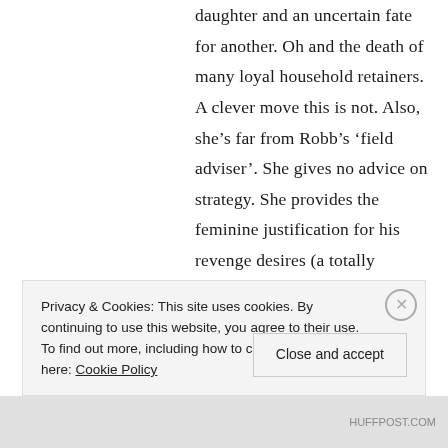daughter and an uncertain fate for another. Oh and the death of many loyal household retainers. A clever move this is not. Also, she’s far from Robb’s ‘field adviser’. She gives no advice on strategy. She provides the feminine justification for his revenge desires (a totally standard patriarchal role for women in times of war) and negotiates a
Privacy & Cookies: This site uses cookies. By continuing to use this website, you agree to their use.
To find out more, including how to control cookies, see here: Cookie Policy
Close and accept
HUFFPOST.COM